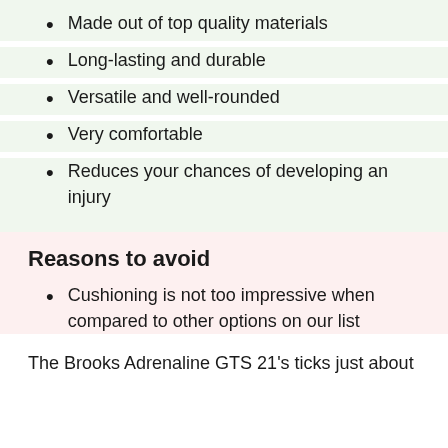Made out of top quality materials
Long-lasting and durable
Versatile and well-rounded
Very comfortable
Reduces your chances of developing an injury
Reasons to avoid
Cushioning is not too impressive when compared to other options on our list
The Brooks Adrenaline GTS 21's ticks just about